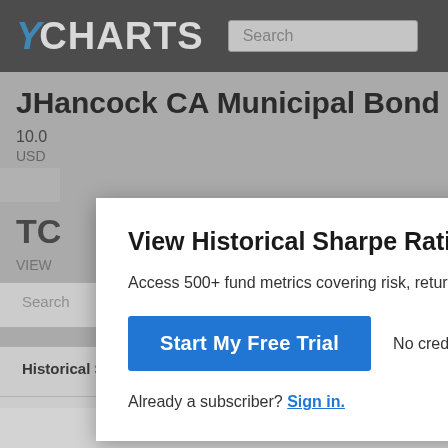YCHARTS
JHancock CA Municipal Bond C (TCCAX)
10.0
USD
TC
VIEW
Search
Historical Sharpe Ratio (5Y) Chart
View Historical Sharpe Ratio (5Y) for TCCAX
Access 500+ fund metrics covering risk, returns, exposu...
Start My Free Trial
No credit card required.
Already a subscriber? Sign in.